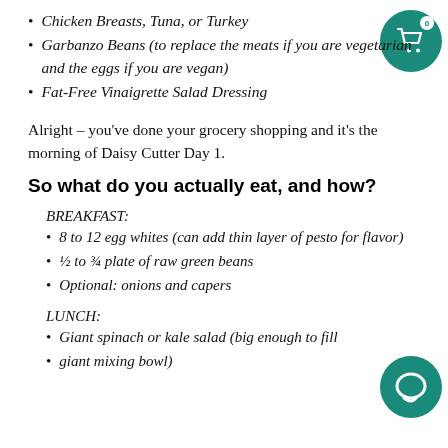Chicken Breasts, Tuna, or Turkey
Garbanzo Beans (to replace the meats if you are vegetarian and the eggs if you are vegan)
Fat-Free Vinaigrette Salad Dressing
Alright – you've done your grocery shopping and it's the morning of Daisy Cutter Day 1.
So what do you actually eat, and how?
BREAKFAST:
8 to 12 egg whites (can add thin layer of pesto for flavor)
½ to ¾ plate of raw green beans
Optional: onions and capers
LUNCH:
Giant spinach or kale salad (big enough to fill a giant mixing bowl)